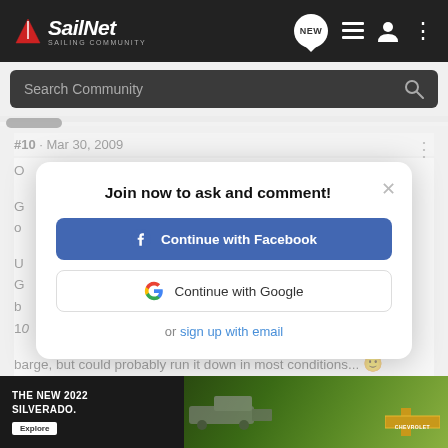SailNet - SAILING COMMUNITY
Search Community
#10 · Mar 30, 2009
barge, but could probably run it down in most conditions... So, you ... a boat. Fo ... ers it is
[Figure (screenshot): Modal dialog with title 'Join now to ask and comment!' with Facebook and Google sign-in buttons and email sign-up link]
[Figure (photo): Chevrolet Silverado 2022 advertisement banner showing a truck in a green landscape with text 'THE NEW 2022 SILVERADO.' and Chevrolet logo]